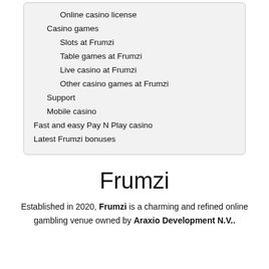Online casino license
Casino games
Slots at Frumzi
Table games at Frumzi
Live casino at Frumzi
Other casino games at Frumzi
Support
Mobile casino
Fast and easy Pay N Play casino
Latest Frumzi bonuses
Frumzi
Established in 2020, Frumzi is a charming and refined online gambling venue owned by Araxio Development N.V..